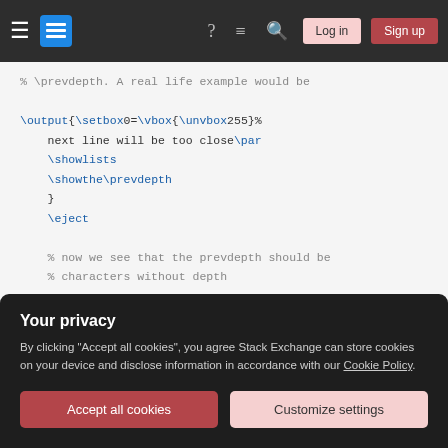Stack Exchange navigation bar with hamburger menu, logo, help, chat, search icons, Log in and Sign up buttons
% \prevdepth. A real life example would be

\output{\setbox0=\vbox{\unvbox255}%
    next line will be too close\par
    \showlists
    \showthe\prevdepth
    }
    \eject

    % now we see that the prevdepth should be
    % characters without depth


    \showlists
Your privacy

By clicking "Accept all cookies", you agree Stack Exchange can store cookies on your device and disclose information in accordance with our Cookie Policy.

Accept all cookies   Customize settings